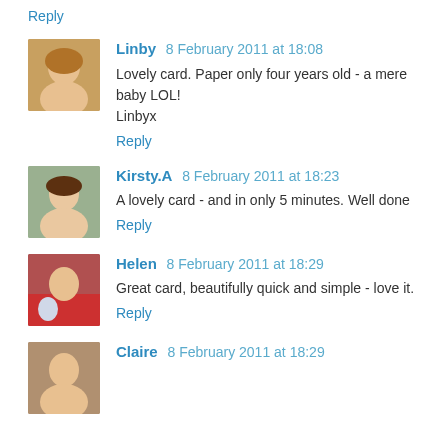Reply
[Figure (photo): Avatar photo of Linby, woman with blonde hair smiling]
Linby 8 February 2011 at 18:08
Lovely card. Paper only four years old - a mere baby LOL! Linbyx
Reply
[Figure (photo): Avatar photo of Kirsty.A, woman smiling]
Kirsty.A 8 February 2011 at 18:23
A lovely card - and in only 5 minutes. Well done
Reply
[Figure (photo): Avatar photo of Helen with red items in background]
Helen 8 February 2011 at 18:29
Great card, beautifully quick and simple - love it.
Reply
[Figure (photo): Avatar photo of Claire]
Claire 8 February 2011 at 18:29